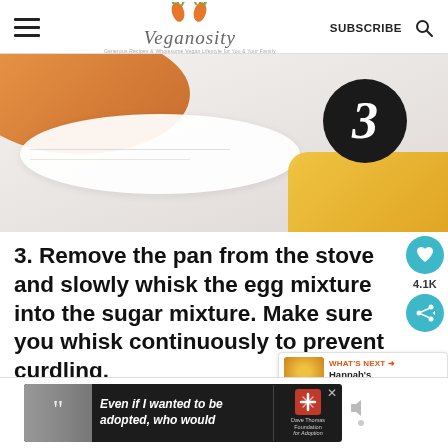Veganosity — SUBSCRIBE
[Figure (photo): Close-up food photography showing a bowl with orange and white items, with a black circular badge showing number 3]
3. Remove the pan from the stove and slowly whisk the egg mixture into the sugar mixture. Make sure you whisk continuously to prevent curdling.
[Figure (other): Social share sidebar: heart icon with 4.1K count, share icon]
[Figure (other): WHAT'S NEXT → Hannah's Sweet Potat... thumbnail widget]
[Figure (other): Advertisement banner: Even if I wanted to be adopted, who would — Dave Thomas Foundation for Adoption]